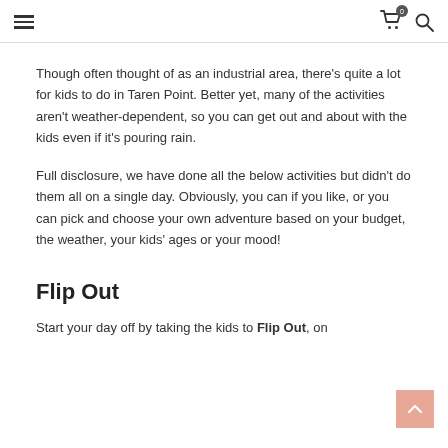Navigation header with hamburger menu, cart icon (badge: 0), and search icon
Though often thought of as an industrial area, there's quite a lot for kids to do in Taren Point. Better yet, many of the activities aren't weather-dependent, so you can get out and about with the kids even if it's pouring rain.
Full disclosure, we have done all the below activities but didn't do them all on a single day. Obviously, you can if you like, or you can pick and choose your own adventure based on your budget, the weather, your kids' ages or your mood!
Flip Out
Start your day off by taking the kids to Flip Out, on